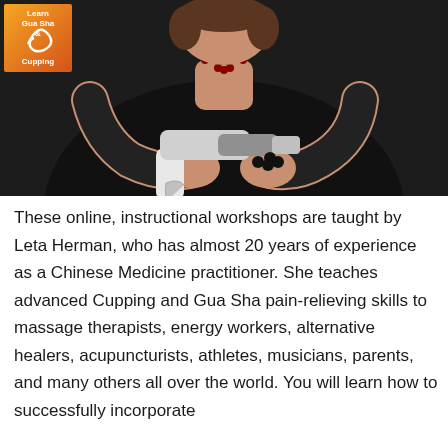[Figure (photo): A woman in a black top and beaded necklace holding a cupping gun device. An orange square logo in the top-left corner reads 'Learn Gua Sha & Cupping'.]
These online, instructional workshops are taught by Leta Herman, who has almost 20 years of experience as a Chinese Medicine practitioner. She teaches advanced Cupping and Gua Sha pain-relieving skills to massage therapists, energy workers, alternative healers, acupuncturists, athletes, musicians, parents, and many others all over the world. You will learn how to successfully incorporate